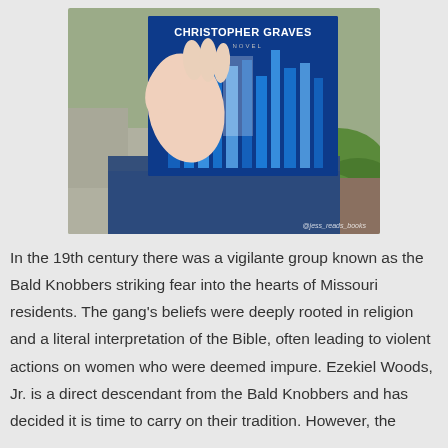[Figure (photo): A hand holding a novel by Christopher Graves outdoors. The book has a dark blue cover with vertical bar/forest imagery. The person is seated, wearing dark jeans. Greenery and stone visible in background. Watermark reads @jess_reads_books.]
In the 19th century there was a vigilante group known as the Bald Knobbers striking fear into the hearts of Missouri residents. The gang's beliefs were deeply rooted in religion and a literal interpretation of the Bible, often leading to violent actions on women who were deemed impure. Ezekiel Woods, Jr. is a direct descendant from the Bald Knobbers and has decided it is time to carry on their tradition. However, the